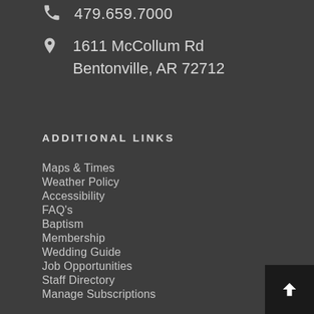479.659.7000
1611 McCollum Rd
Bentonville, AR 72712
ADDITIONAL LINKS
Maps & Times
Weather Policy
Accessibility
FAQ's
Baptism
Membership
Wedding Guide
Job Opportunities
Staff Directory
Manage Subscriptions